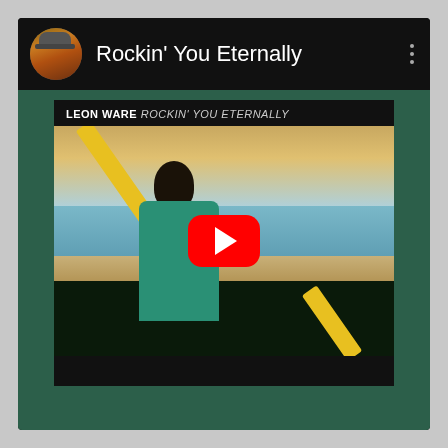Rockin' You Eternally
[Figure (screenshot): YouTube Music screenshot showing Leon Ware 'Rockin' You Eternally' album art with a man in a green shirt on a beach holding a yellow bar, with a red YouTube play button overlay. Header shows avatar, title 'Rockin' You Eternally', and a three-dot menu. Background is dark teal/green.]